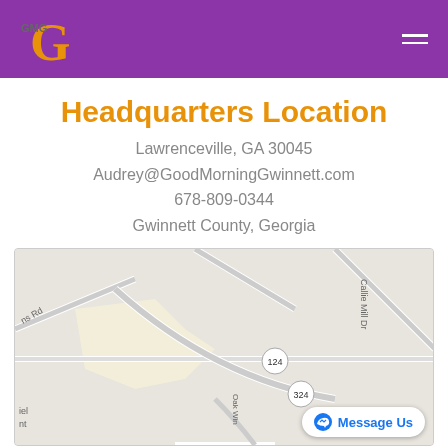GMG logo and navigation bar
Headquarters Location
Lawrenceville, GA 30045
Audrey@GoodMorningGwinnett.com
678-809-0344
Gwinnett County, Georgia
[Figure (map): Google Maps view showing Lawrenceville GA area with route markers 124 and 324, streets including Callie Mill Dr and Oak Win]
(C) Copyrights Noise Media Network 2021